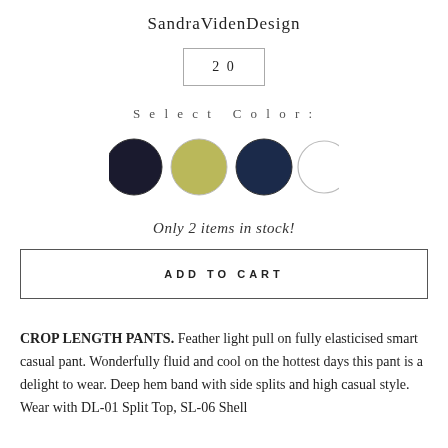SandraVidenDesign
20
Select Color:
[Figure (other): Four color swatches: black circle, olive/yellow-green circle, navy circle, white circle]
Only 2 items in stock!
ADD TO CART
CROP LENGTH PANTS. Feather light pull on fully elasticised smart casual pant. Wonderfully fluid and cool on the hottest days this pant is a delight to wear. Deep hem band with side splits and high casual style. Wear with DL-01 Split Top, SL-06 Shell